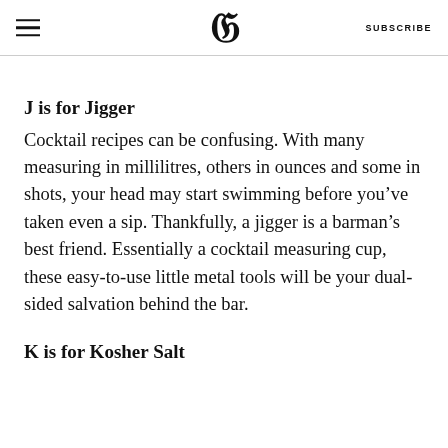SUBSCRIBE
J is for Jigger
Cocktail recipes can be confusing. With many measuring in millilitres, others in ounces and some in shots, your head may start swimming before you’ve taken even a sip. Thankfully, a jigger is a barman’s best friend. Essentially a cocktail measuring cup, these easy-to-use little metal tools will be your dual-sided salvation behind the bar.
K is for Kosher Salt